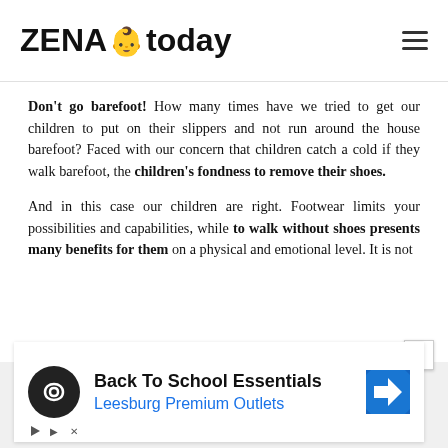ZENA today
Don't go barefoot! How many times have we tried to get our children to put on their slippers and not run around the house barefoot? Faced with our concern that children catch a cold if they walk barefoot, the children's fondness to remove their shoes.
And in this case our children are right. Footwear limits your possibilities and capabilities, while to walk without shoes presents many benefits for them on a physical and emotional level. It is not
[Figure (other): Advertisement banner for Back To School Essentials at Leesburg Premium Outlets, featuring a circular logo with infinity symbol and a navigation arrow icon]